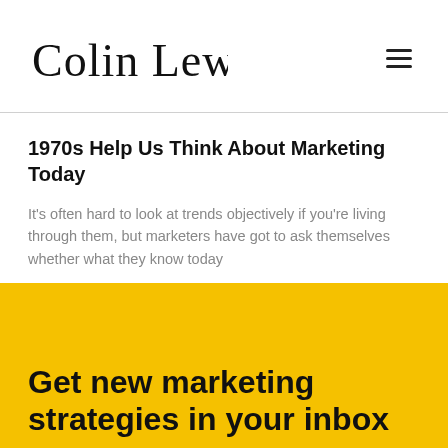Colin Lewis
1970s Help Us Think About Marketing Today
It's often hard to look at trends objectively if you're living through them, but marketers have got to ask themselves whether what they know today
Get new marketing strategies in your inbox